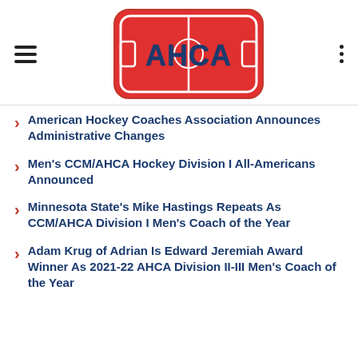[Figure (logo): AHCA logo — red rounded rectangle depicting a hockey rink with 'AHCA' text in blue letters]
American Hockey Coaches Association Announces Administrative Changes
Men's CCM/AHCA Hockey Division I All-Americans Announced
Minnesota State's Mike Hastings Repeats As CCM/AHCA Division I Men's Coach of the Year
Adam Krug of Adrian Is Edward Jeremiah Award Winner As 2021-22 AHCA Division II-III Men's Coach of the Year